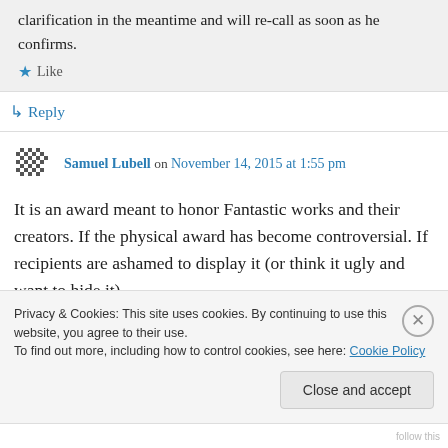clarification in the meantime and will call as soon as he confirms.
★ Like
↳ Reply
Samuel Lubell on November 14, 2015 at 1:55 pm
It is an award meant to honor Fantastic works and their creators. If the physical award has become controversial. If recipients are ashamed to display it (or think it ugly and want to hide it)
Privacy & Cookies: This site uses cookies. By continuing to use this website, you agree to their use.
To find out more, including how to control cookies, see here: Cookie Policy
Close and accept